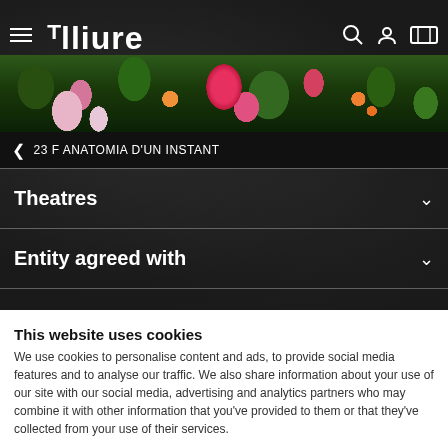Teatre Lliure - Navigation header with hamburger menu, logo, search, user, and ticket icons
[Figure (photo): Decorative floral banner with pink flowers, red protea, green leaves, and orange fruits on dark background]
< 23 F ANATOMIA D'UN INSTANT
Theatres
Entity agreed with
With the collaboration by
Supported by
This website uses cookies
We use cookies to personalise content and ads, to provide social media features and to analyse our traffic. We also share information about your use of our site with our social media, advertising and analytics partners who may combine it with other information that you've provided to them or that they've collected from your use of their services.